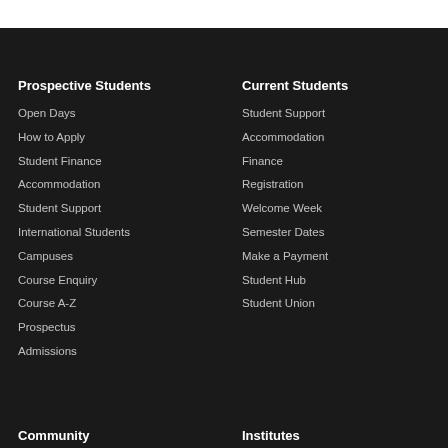Prospective Students
Open Days
How to Apply
Student Finance
Accommodation
Student Support
International Students
Campuses
Course Enquiry
Course A-Z
Prospectus
Admissions
Current Students
Student Support
Accommodation
Finance
Registration
Welcome Week
Semester Dates
Make a Payment
Student Hub
Student Union
Community
Institutes